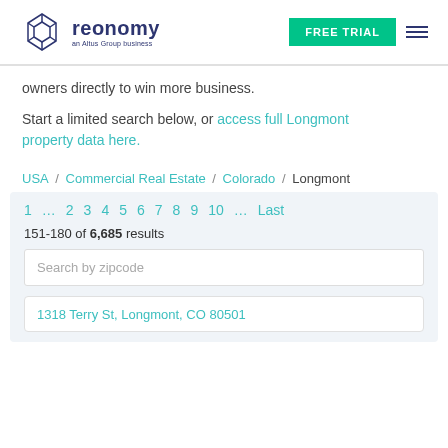reonomy - an Altus Group business | FREE TRIAL
owners directly to win more business.
Start a limited search below, or access full Longmont property data here.
USA / Commercial Real Estate / Colorado / Longmont
1 ... 2 3 4 5 6 7 8 9 10 ... Last
151-180 of 6,685 results
Search by zipcode
1318 Terry St, Longmont, CO 80501